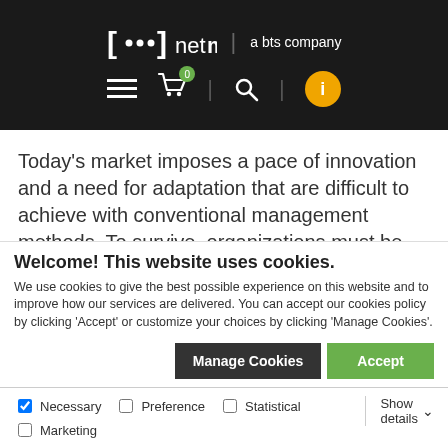[Figure (logo): Netmind logo — a bts company, white text on dark background, with bracket and dots icon]
[Figure (screenshot): Navigation bar with hamburger menu, shopping cart with badge showing 0, separator, search icon, separator, orange info circle button]
Today's market imposes a pace of innovation and a need for adaptation that are difficult to achieve with conventional management methods. To survive, organizations must be agile, able to adapt flexibly to the changing needs of their customers
Welcome! This website uses cookies.
We use cookies to give the best possible experience on this website and to improve how our services are delivered. You can accept our cookies policy by clicking 'Accept' or customize your choices by clicking 'Manage Cookies'.
Manage Cookies | Accept
Necessary | Preference | Statistical | Marketing | Show details